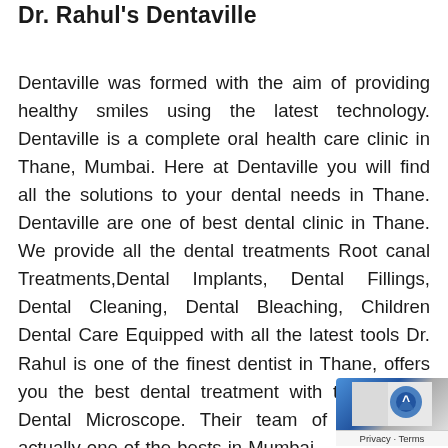Dr. Rahul's Dentaville
Dentaville was formed with the aim of providing healthy smiles using the latest technology. Dentaville is a complete oral health care clinic in Thane, Mumbai. Here at Dentaville you will find all the solutions to your dental needs in Thane. Dentaville are one of best dental clinic in Thane. We provide all the dental treatments Root canal Treatments,Dental Implants, Dental Fillings, Dental Cleaning, Dental Bleaching, Children Dental Care Equipped with all the latest tools Dr. Rahul is one of the finest dentist in Thane, offers you the best dental treatment with the help of Dental Microscope. Their team of doctors is actually one of the bests in Mumbai.
[Figure (logo): Google Maps privacy/terms badge with blue icon in bottom-right corner]